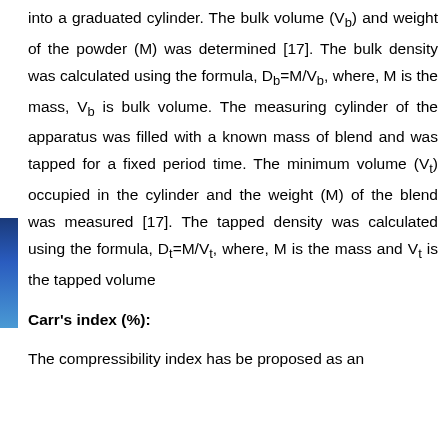into a graduated cylinder. The bulk volume (Vb) and weight of the powder (M) was determined [17]. The bulk density was calculated using the formula, Db=M/Vb, where, M is the mass, Vb is bulk volume. The measuring cylinder of the apparatus was filled with a known mass of blend and was tapped for a fixed period time. The minimum volume (Vt) occupied in the cylinder and the weight (M) of the blend was measured [17]. The tapped density was calculated using the formula, Dt=M/Vt, where, M is the mass and Vt is the tapped volume
Carr's index (%):
The compressibility index has be proposed as an